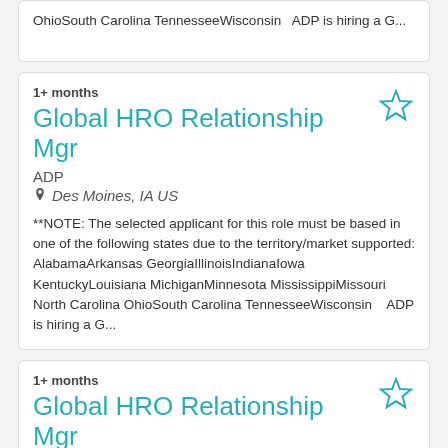OhioSouth Carolina TennesseeWisconsin  ADP is hiring a G...
1+ months
Global HRO Relationship Mgr
ADP
Des Moines, IA US
**NOTE: The selected applicant for this role must be based in one of the following states due to the territory/market supported: AlabamaArkansas GeorgiaIllinoisIndianaIowa KentuckyLouisiana MichiganMinnesota MississippiMissouri North Carolina OhioSouth Carolina TennesseeWisconsin   ADP is hiring a G...
1+ months
Global HRO Relationship Mgr
ADP